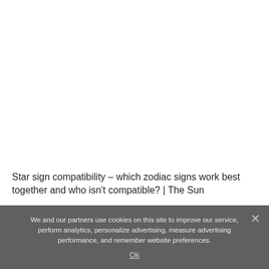Star sign compatibility – which zodiac signs work best together and who isn't compatible? | The Sun
We and our partners use cookies on this site to improve our service, perform analytics, personalize advertising, measure advertising performance, and remember website preferences.
Ok